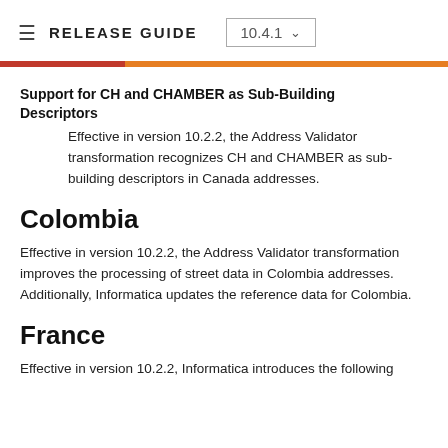RELEASE GUIDE  10.4.1
Support for CH and CHAMBER as Sub-Building Descriptors
Effective in version 10.2.2, the Address Validator transformation recognizes CH and CHAMBER as sub-building descriptors in Canada addresses.
Colombia
Effective in version 10.2.2, the Address Validator transformation improves the processing of street data in Colombia addresses. Additionally, Informatica updates the reference data for Colombia.
France
Effective in version 10.2.2, Informatica introduces the following